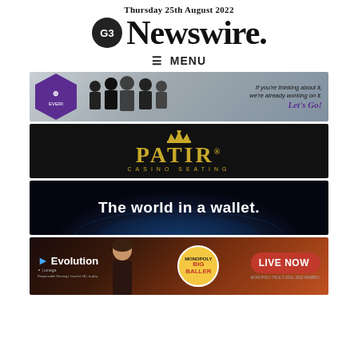Thursday 25th August 2022
[Figure (logo): G3 Newswire logo with circular G3 emblem and bold serif Newswire. wordmark]
≡ MENU
[Figure (photo): Everi banner ad: purple hexagon logo with business people silhouettes, tagline 'If you're thinking about it, we're already working on it. Let's Go!']
[Figure (logo): PATIR Casino Seating banner ad on black background with gold crown and gold lettering]
[Figure (photo): Banner ad: 'The world in a wallet.' white bold text on dark space/globe background]
[Figure (photo): Evolution Gaming banner ad featuring Monopoly Big Baller game with 'LIVE NOW' button, woman dealer, and gaming logos]